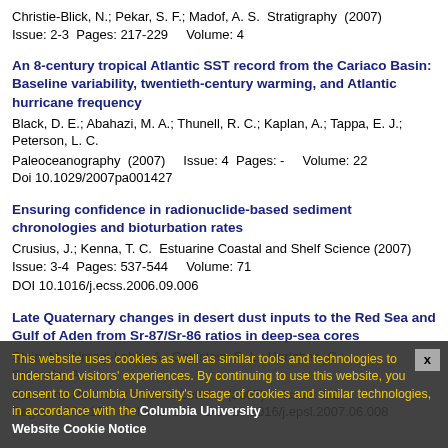Christie-Blick, N.; Pekar, S. F.; Madof, A. S.  Stratigraphy  (2007)  Issue: 2-3  Pages: 217-229    Volume: 4
An 8-century tropical Atlantic SST record from the Cariaco Basin: Baseline variability, twentieth-century warming, and Atlantic hurricane frequency
Black, D. E.; Abahazi, M. A.; Thunell, R. C.; Kaplan, A.; Tappa, E. J.; Peterson, L. C.
Paleoceanography  (2007)    Issue: 4  Pages: -    Volume: 22
Doi 10.1029/2007pa001427
Ensuring confidence in radionuclide-based sediment chronologies and bioturbation rates
Crusius, J.; Kenna, T. C.  Estuarine Coastal and Shelf Science (2007)    Issue: 3-4  Pages: 537-544    Volume: 71
DOI 10.1016/j.ecss.2006.09.006
Late Quaternary changes in desert dust inputs to the Red Sea and Gulf of Aden from Sr-87/Sr-86 ratios in deep-sea cores
Stein, M.; Almogi-Labin, A.; Goldstein, S. L.; Herleben, C.; Starinsky, A.
Earth and Planetary Science Letters  (2007)    Issue: 1-2
Pages: 104-119    Volume: 261  DOI 10.1016/j.epsl.2007.06.008
This website uses cookies as well as similar tools and technologies to understand visitors' experiences. By continuing to use this website, you consent to Columbia University's usage of cookies and similar technologies, in accordance with the Columbia University Website Cookie Notice